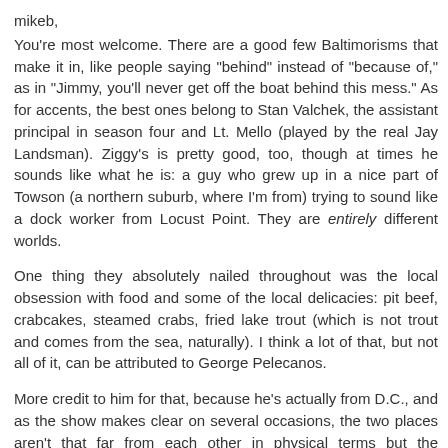mikeb,
You're most welcome. There are a good few Baltimorisms that make it in, like people saying "behind" instead of "because of," as in "Jimmy, you'll never get off the boat behind this mess." As for accents, the best ones belong to Stan Valchek, the assistant principal in season four and Lt. Mello (played by the real Jay Landsman). Ziggy's is pretty good, too, though at times he sounds like what he is: a guy who grew up in a nice part of Towson (a northern suburb, where I'm from) trying to sound like a dock worker from Locust Point. They are entirely different worlds.
One thing they absolutely nailed throughout was the local obsession with food and some of the local delicacies: pit beef, crabcakes, steamed crabs, fried lake trout (which is not trout and comes from the sea, naturally). I think a lot of that, but not all of it, can be attributed to George Pelecanos.
More credit to him for that, because he's actually from D.C., and as the show makes clear on several occasions, the two places aren't that far from each other in physical terms but the relationship between them is anything but close.